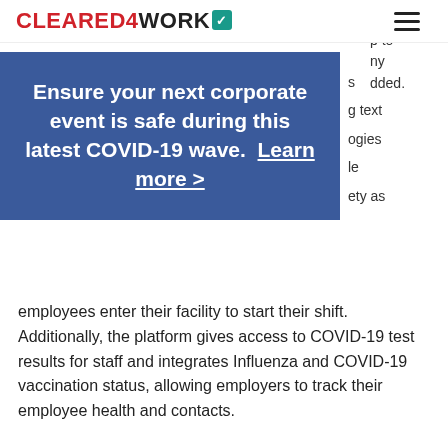CLEARED4WORK
[Figure (screenshot): Cleared4Work website banner overlay on a blue background reading: Ensure your next corporate event is safe during this latest COVID-19 wave. Learn more >]
employees enter their facility to start their shift. Additionally, the platform gives access to COVID-19 test results for staff and integrates Influenza and COVID-19 vaccination status, allowing employers to track their employee health and contacts.